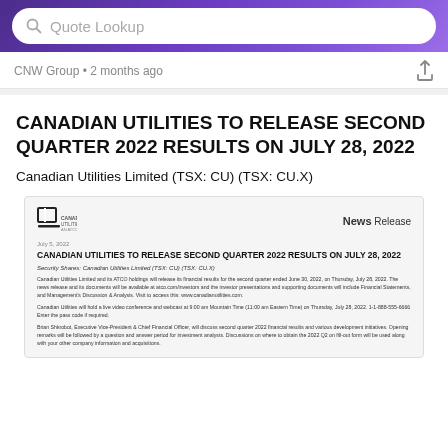Quote Lookup
CNW Group • 2 months ago
CANADIAN UTILITIES TO RELEASE SECOND QUARTER 2022 RESULTS ON JULY 28, 2022
Canadian Utilities Limited (TSX: CU) (TSX: CU.X)
[Figure (screenshot): Blurred preview of the Canadian Utilities News Release document showing the company logo, News Release heading, and several paragraphs of text about the second quarter 2022 results announcement.]